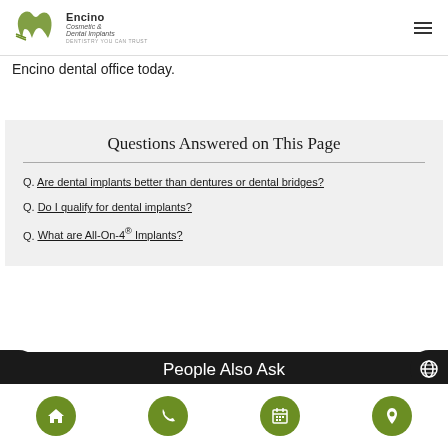Encino Cosmetic & Dental Implants
Encino dental office today.
Questions Answered on This Page
Q. Are dental implants better than dentures or dental bridges?
Q. Do I qualify for dental implants?
Q. What are All-On-4® Implants?
People Also Ask
Home | Phone | Calendar | Location